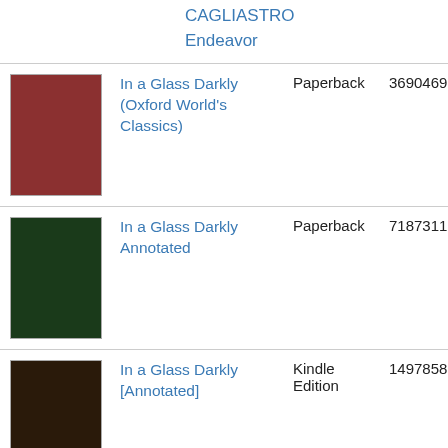CAGLIASTRO
Endeavor
| Image | Title | Format | ID | Price |
| --- | --- | --- | --- | --- |
| [book cover] | In a Glass Darkly (Oxford World's Classics) | Paperback | 3690469 | $24... |
| [book cover] | In a Glass Darkly Annotated | Paperback | 7187311 | $49... |
| [book cover] | In a Glass Darkly [Annotated] | Kindle Edition | 1497858 | $0.... |
| [book cover] | In a Glass Darkly | Paperback | 11322447 | $9.... |